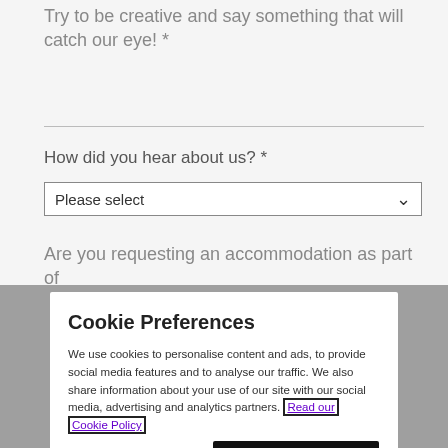Try to be creative and say something that will catch our eye! *
How did you hear about us? *
Please select
Are you requesting an accommodation as part of
Cookie Preferences
We use cookies to personalise content and ads, to provide social media features and to analyse our traffic. We also share information about your use of our site with our social media, advertising and analytics partners. Read our Cookie Policy
Manage Preferences
Accept All Cookies